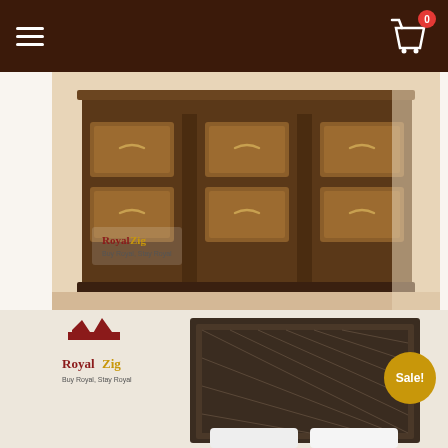RoyalZig navigation bar with hamburger menu and shopping cart (0 items)
[Figure (photo): Wooden chest of drawers with hand-carved details and brass drawer pulls, shown on cream background with RoyalZig logo watermark]
ROYAL CHEST OF DRAWERS HAND CARVED
★★★★★ (0 stars rating)
₹390,000  ₹195,000
ADD TO CART
[Figure (photo): Dark wooden bed headboard with geometric carved diamond pattern, shown with white pillows. RoyalZig logo on left, Sale! badge on right.]